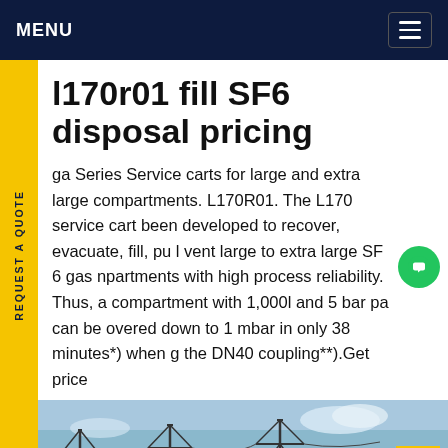MENU
l170r01 fill SF6 disposal pricing
ga Series Service carts for large and extra large compartments. L170R01. The L170 service cart been developed to recover, evacuate, fill, pu l vent large to extra large SF 6 gas npartments with high process reliability. Thus, a compartment with 1,000l and 5 bar pa can be overed down to 1 mbar in only 38 minutes*) when g the DN40 coupling**).Get price
[Figure (photo): Electrical power transmission towers and substation infrastructure against a blue sky background.]